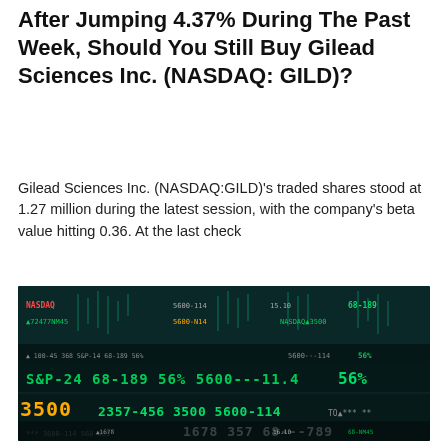After Jumping 4.37% During The Past Week, Should You Still Buy Gilead Sciences Inc. (NASDAQ: GILD)?
Gilead Sciences Inc. (NASDAQ:GILD)'s traded shares stood at 1.27 million during the latest session, with the company's beta value hitting 0.36. At the last check
[Figure (photo): Stock market ticker display showing green and orange LED-style numbers including values like 5600, 71.4, 56%, 3500, 2357-456, 1678, 357, 68 against a dark teal background with candlestick chart overlay]